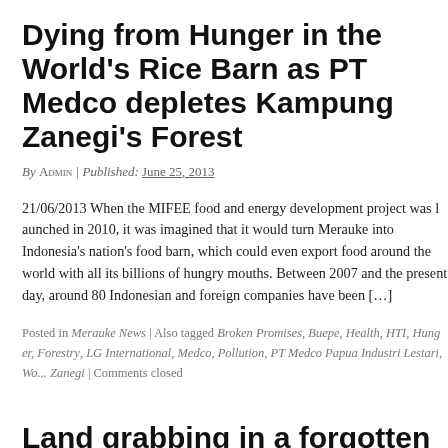Dying from Hunger in the World's Rice Barn as PT Medco depletes Kampung Zanegi's Forest
By ADMIN | Published: JUNE 25, 2013
21/06/2013 When the MIFEE food and energy development project was launched in 2010, it was imagined that it would turn Merauke into Indonesia's national food barn, which could even export food around the world with all its billions of hungry mouths. Between 2007 and the present day, around 80 Indonesian and foreign companies have been […]
Posted in Merauke News | Also tagged Broken Promises, Buepe, Health, HTI, Hunger, Forestry, LG International, Medco, Pollution, PT Medco Papua Industri Lestari, Wo... Zanegi | Comments closed
Land grabbing in a forgotten country: MIFEE-affected villager visits Netherlands